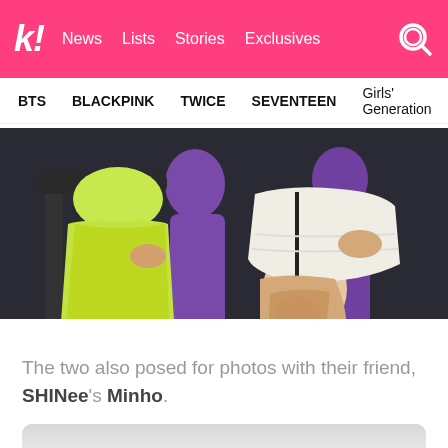k! News Lists Stories Exclusives
BTS BLACKPINK TWICE SEVENTEEN Girls' Generation
[Figure (photo): Two seated figures, one in a yellow-green dress on the left and one in a white tweed outfit on the right with purple figures in background]
The two also posed for photos with their friend, SHINee's Minho.
[Figure (photo): Partially visible photo at bottom of page, gray/light toned]